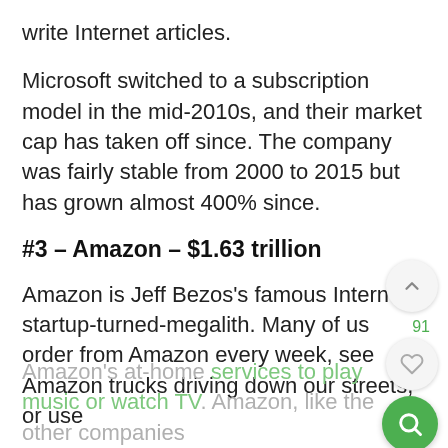write Internet articles.
Microsoft switched to a subscription model in the mid-2010s, and their market cap has taken off since. The company was fairly stable from 2000 to 2015 but has grown almost 400% since.
#3 – Amazon – $1.63 trillion
Amazon is Jeff Bezos's famous Internet startup-turned-megalith. Many of us order from Amazon every week, see Amazon trucks driving down our streets, or use
Amazon's at-home services to play music or watch TV. Amazon, like the other companies